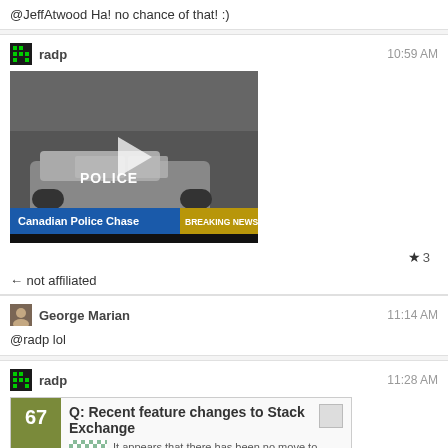@JeffAtwood Ha! no chance of that! :)
radp  10:59 AM
[Figure (screenshot): Video thumbnail of a Canadian Police Chase in snowy conditions with play button, Breaking News banner.]
Canadian Police Chase  BREAKING NEWS
← not affiliated
George Marian  11:14 AM
@radp lol
radp  11:28 AM
[Figure (screenshot): Embedded Q&A card: Q: Recent feature changes to Stack Exchange, score 67, with description and tags support, faq.]
↑ now an official faq